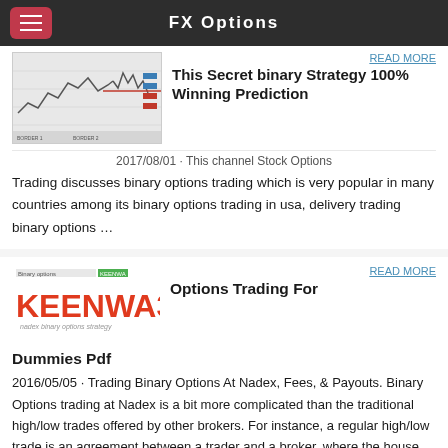FX Options
READ MORE
This Secret binary Strategy 100% Winning Prediction
2017/08/01 · This channel Stock Options
Trading discusses binary options trading which is very popular in many countries among its binary options trading in usa, delivery trading binary options …
READ MORE
Options Trading For Dummies Pdf
2016/05/05 · Trading Binary Options At Nadex, Fees, & Payouts. Binary Options trading at Nadex is a bit more complicated than the traditional high/low trades offered by other brokers. For instance, a regular high/low trade is an agreement between a trader and a broker, where the house (the broker) has better odds than the